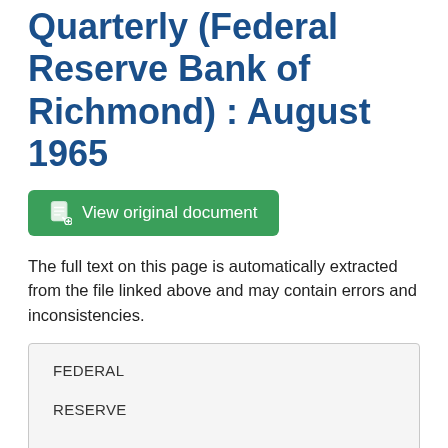Full text of Economic Quarterly (Federal Reserve Bank of Richmond) : August 1965
View original document
The full text on this page is automatically extracted from the file linked above and may contain errors and inconsistencies.
FEDERAL
RESERVE


BANK